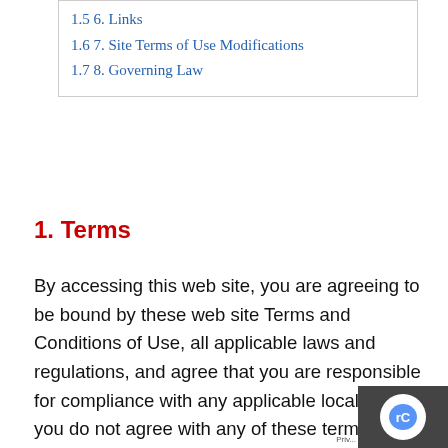1.5 6. Links
1.6 7. Site Terms of Use Modifications
1.7 8. Governing Law
1. Terms
By accessing this web site, you are agreeing to be bound by these web site Terms and Conditions of Use, all applicable laws and regulations, and agree that you are responsible for compliance with any applicable local laws. If you do not agree with any of these terms, you are prohibited from using or accessing this site. The materials contained in this web site are protected by applicable copyright and trade mark law.